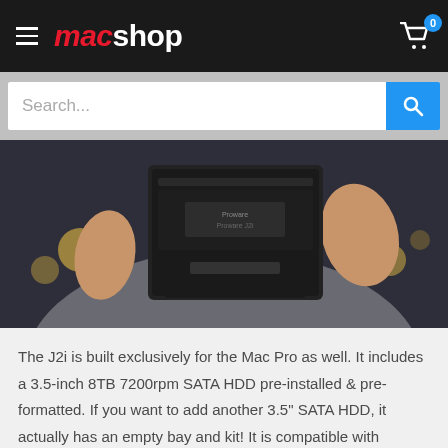macshop
[Figure (screenshot): macshop website header with hamburger menu, red/white logo, cart icon with badge showing 0]
[Figure (photo): Person holding a black hard drive enclosure/device in both hands against a blurred dark background with bokeh lights]
The J2i is built exclusively for the Mac Pro as well. It includes a 3.5-inch 8TB 7200rpm SATA HDD pre-installed & pre-formatted. If you want to add another 3.5" SATA HDD, it actually has an empty bay and kit! It is compatible with appleRAID and includes a dual SATA connector.